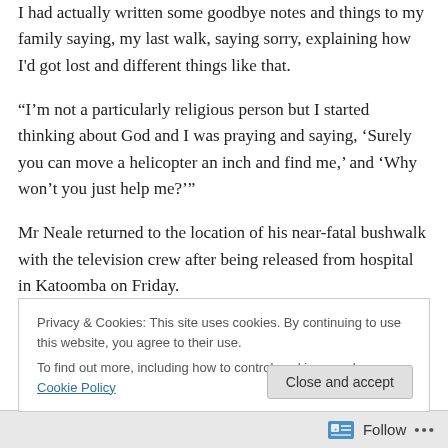I had actually written some goodbye notes and things to my family saying, my last walk, saying sorry, explaining how I'd got lost and different things like that.
“I’m not a particularly religious person but I started thinking about God and I was praying and saying, ‘Surely you can move a helicopter an inch and find me,’ and ‘Why won’t you just help me?’”
Mr Neale returned to the location of his near-fatal bushwalk with the television crew after being released from hospital in Katoomba on Friday.
Privacy & Cookies: This site uses cookies. By continuing to use this website, you agree to their use.
To find out more, including how to control cookies, see here: Cookie Policy
Follow ···